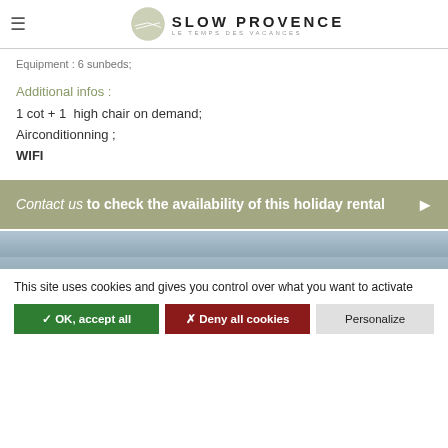SLOW PROVENCE — LE TEMPS DES VACANCES
Equipment : 6 sunbeds;
Additional infos :
1 cot + 1  high chair on demand;
Airconditionning ;
WIFI
Contact us to check the availability of this holiday rental
[Figure (photo): Outdoor landscape image strip]
This site uses cookies and gives you control over what you want to activate